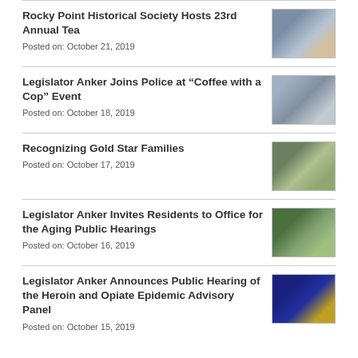Rocky Point Historical Society Hosts 23rd Annual Tea
Posted on: October 21, 2019
[Figure (photo): Group photo of people at the Rocky Point Historical Society Annual Tea event]
Legislator Anker Joins Police at "Coffee with a Cop" Event
Posted on: October 18, 2019
[Figure (photo): Photo of people seated at tables at Coffee with a Cop event]
Recognizing Gold Star Families
Posted on: October 17, 2019
[Figure (photo): Group photo outdoors for Gold Star Families recognition event]
Legislator Anker Invites Residents to Office for the Aging Public Hearings
Posted on: October 16, 2019
[Figure (photo): Outdoor group photo for Office for the Aging Public Hearings]
Legislator Anker Announces Public Hearing of the Heroin and Opiate Epidemic Advisory Panel
Posted on: October 15, 2019
[Figure (photo): Flyer/poster for Public Hearing of the Heroin and Opiate Epidemic Advisory Panel with blue and yellow design]